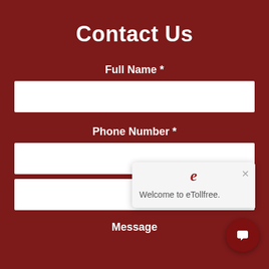Contact Us
Full Name *
Phone Number *
Message
[Figure (screenshot): Chat popup widget showing eTollfree logo and welcome message 'Welcome to eTollfree.' with a close button, and a dark red chat bubble icon in the bottom right corner.]